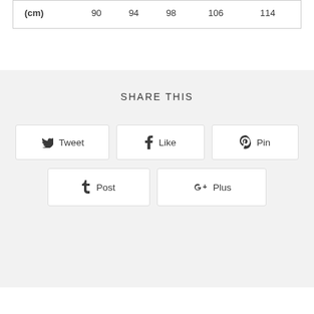| (cm) | 90 | 94 | 98 | 106 | 114 |
| --- | --- | --- | --- | --- | --- |
SHARE THIS
Tweet
Like
Pin
Post
Plus